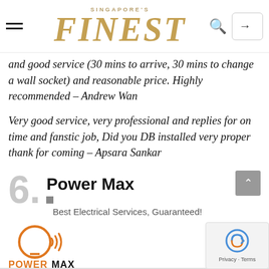SINGAPORE'S FINEST
and good service (30 mins to arrive, 30 mins to change a wall socket) and reasonable price. Highly recommended – Andrew Wan
Very good service, very professional and replies for on time and fanstic job, Did you DB installed very proper thank for coming – Apsara Sankar
6. Power Max
Best Electrical Services, Guaranteed!
[Figure (logo): PowerMax Electric Services logo with orange circular light bulb icon and orange/black POWERMAX text]